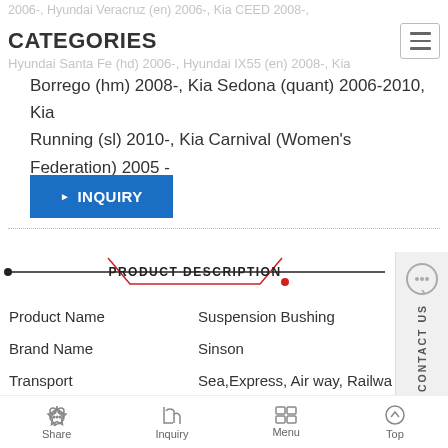2006-, Hyundai Veracruz (en) 2006-, Kia Ceed 2008-,
CATEGORIES
Hyundai Santa Fe (hd) 2006-, Hyundai IX55 (en) 2008-, Kia Borrego (hm) 2008-, Kia Sedona (quant) 2006-2010, Kia Running (sl) 2010-, Kia Carnival (Women's Federation) 2005 -
▶ INQUIRY
PRODUCT DESCRIPTION
| Field | Value |
| --- | --- |
| Product Name | Suspension Bushing |
| Brand Name | Sinson |
| Transport | Sea,Express, Air way, Railway |
| MOQ | 100pcs |
| Package | Neutral or customized |
Share  Inquiry  Menu  Top